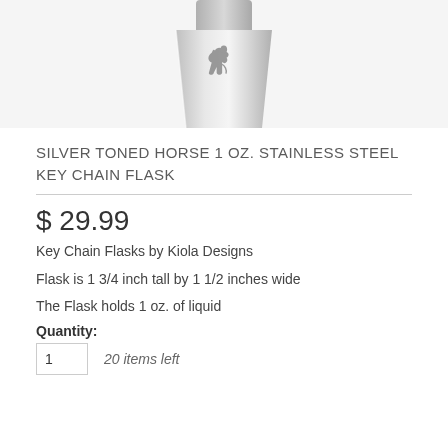[Figure (photo): Silver toned stainless steel key chain flask with horse embossed on the front, partially cropped at the top of the image]
SILVER TONED HORSE 1 OZ. STAINLESS STEEL KEY CHAIN FLASK
$ 29.99
Key Chain Flasks by Kiola Designs
Flask is 1 3/4 inch tall by 1 1/2 inches wide
The Flask holds 1 oz. of liquid
Quantity:
1    20 items left